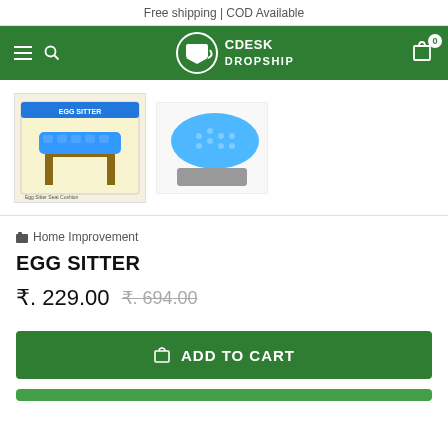Free shipping | COD Available
[Figure (screenshot): E-commerce navigation bar with hamburger menu, search icon, CDESK DROPSHIP logo, and cart icon with badge showing 0]
[Figure (photo): Product images: left shows Egg Sitter cushion product box on a chair, right shows blue gel seat cushion with gray non-slip mat]
Home Improvement
EGG SITTER
₹. 229.00 ₹. 694.00
ADD TO CART